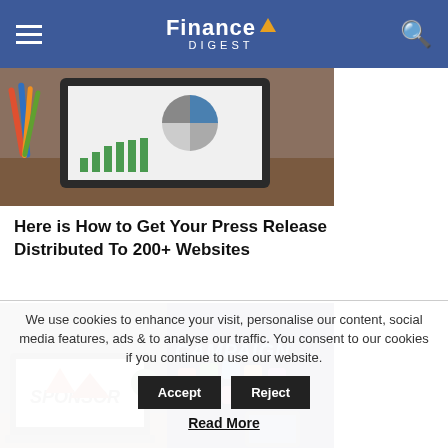Finance Digest
[Figure (photo): Laptop or tablet displaying financial charts including a pie chart and bar chart, with pens/pencils in the background]
Here is How to Get Your Press Release Distributed To 200+ Websites
[Figure (photo): Two images: left shows a laptop with SPONSOR text on screen, right shows a digital CAMPAIGN concept with colorful app icons floating from a smartphone]
We use cookies to enhance your visit, personalise our content, social media features, ads & to analyse our traffic. You consent to our cookies if you continue to use our website.
Read More